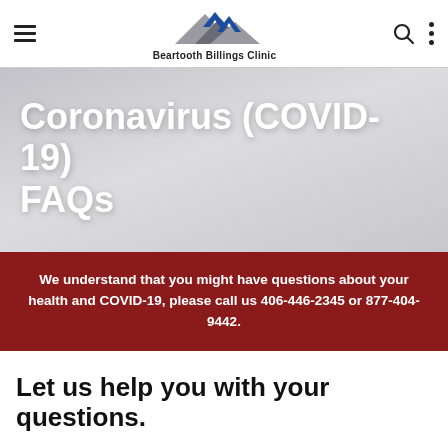Beartooth Billings Clinic
Coronavirus (COVID-19) FAQs
We understand that you might have questions about your health and COVID-19, please call us 406-446-2345 or 877-404-9442.
Let us help you with your questions.
Read Beartooth Billings Clinc COVID-19 FAQs